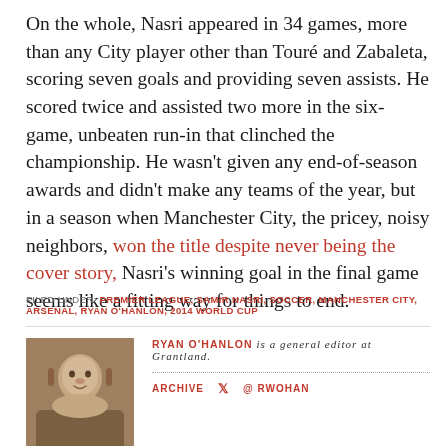On the whole, Nasri appeared in 34 games, more than any City player other than Touré and Zabaleta, scoring seven goals and providing seven assists. He scored twice and assisted two more in the six-game, unbeaten run-in that clinched the championship. He wasn't given any end-of-season awards and didn't make any teams of the year, but in a season when Manchester City, the pricey, noisy neighbors, won the title despite never being the cover story, Nasri's winning goal in the final game seems like a fitting way for things to end.
FILED UNDER: PREMIER LEAGUE, SAMIR NASRI, SOCCER, MANCHESTER CITY, ARSENAL, RYAN O'HANLON, 2014 WORLD CUP
RYAN O'HANLON is a general editor at Grantland.
ARCHIVE  @RWOHAN